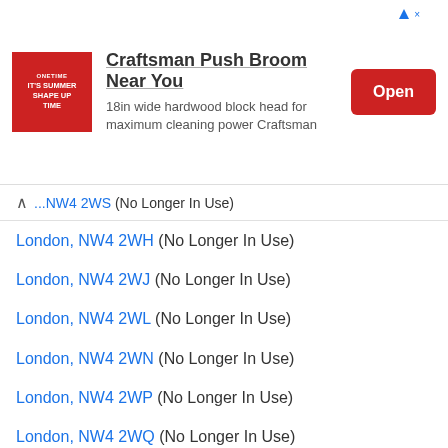[Figure (other): Advertisement banner: Craftsman Push Broom Near You - 18in wide hardwood block head for maximum cleaning power Craftsman. Open button.]
London, NW4 2WS (No Longer In Use) [partial, collapsed]
London, NW4 2WH (No Longer In Use)
London, NW4 2WJ (No Longer In Use)
London, NW4 2WL (No Longer In Use)
London, NW4 2WN (No Longer In Use)
London, NW4 2WP (No Longer In Use)
London, NW4 2WQ (No Longer In Use)
London, NW4 2WR (No Longer In Use)
London, NW4 2WS (No Longer In Use)
London, NW4 2WT (No Longer In Use)
London, NW4 2WU (No Longer In Use)
London, NW4 2WW (No Longer In Use)